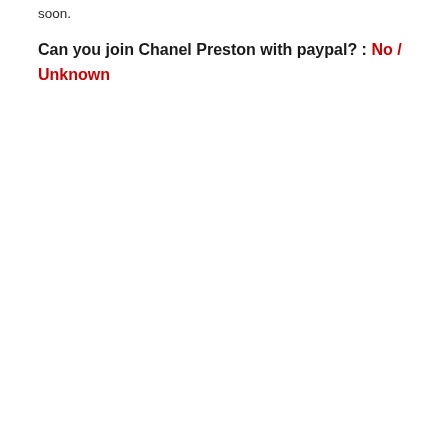soon.
Can you join Chanel Preston with paypal? : No / Unknown